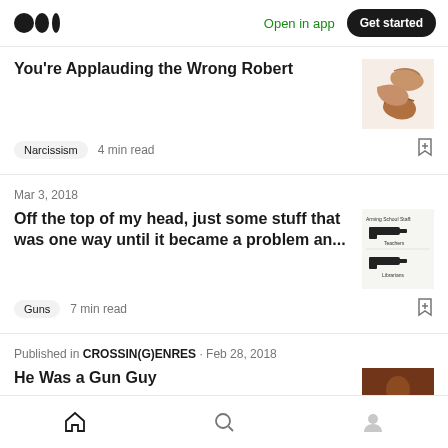Open in app | Get started
You're Applauding the Wrong Robert
Narcissism  4 min read
Mar 3, 2018
Off the top of my head, just some stuff that was one way until it became a problem an...
Guns  7 min read
Published in CROSSIN(G)ENRES · Feb 28, 2018
He Was a Gun Guy
Guns  5 min read
Home  Search  Profile